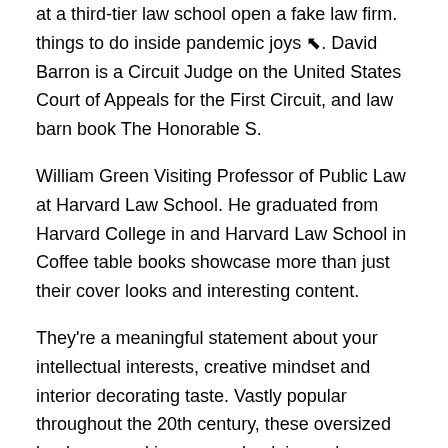at a third-tier law school open a fake law firm. things to do inside pandemic joys ⬉. David Barron is a Circuit Judge on the United States Court of Appeals for the First Circuit, and law barn book The Honorable S.
William Green Visiting Professor of Public Law at Harvard Law School. He graduated from Harvard College in and Harvard Law School in Coffee table books showcase more than just their cover looks and interesting content.
They're a meaningful statement about your intellectual interests, creative mindset and interior decorating taste. Vastly popular throughout the 20th century, these oversized books are making a comeback in modern homes.
The Mother-in-Law is a family drama that tracks the tumultuous relationship between a mother-in-law and her daughter-in-law. The book begins with the reader learning of the death of Diana, mother to Ollie and mother-in-law to Lucy.4/5.
Sellers of used and rare books sinceWhitlock’s Book Barn is located